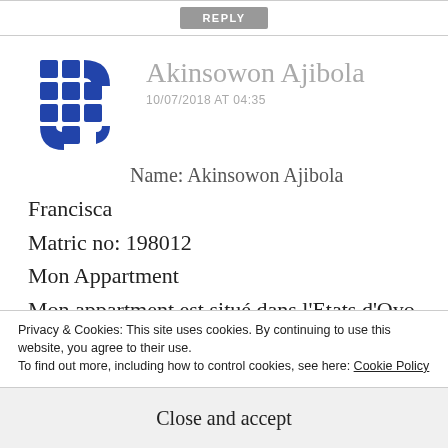REPLY
[Figure (logo): Blue geometric avatar icon made of squares and arc segments arranged in a grid pattern]
Akinsowon Ajibola
10/07/2018 AT 04:35
Name: Akinsowon Ajibola
Francisca
Matric no: 198012
Mon Appartment
Mon appartment est situé dans l'Etats d'Oyo
Privacy & Cookies: This site uses cookies. By continuing to use this website, you agree to their use.
To find out more, including how to control cookies, see here: Cookie Policy
Close and accept
Mon apartment est grand, comfortable. Il y a